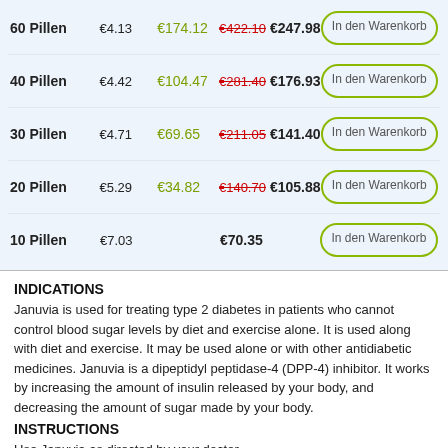| Pillen | pro Pille | Ersparnis | Preis (alt) | Preis (neu) | Aktion |
| --- | --- | --- | --- | --- | --- |
| 60 Pillen | €4.13 | €174.12 | €422.10 | €247.98 | In den Warenkorb |
| 40 Pillen | €4.42 | €104.47 | €281.40 | €176.93 | In den Warenkorb |
| 30 Pillen | €4.71 | €69.65 | €211.05 | €141.40 | In den Warenkorb |
| 20 Pillen | €5.29 | €34.82 | €140.70 | €105.88 | In den Warenkorb |
| 10 Pillen | €7.03 |  |  | €70.35 | In den Warenkorb |
INDICATIONS
Januvia is used for treating type 2 diabetes in patients who cannot control blood sugar levels by diet and exercise alone. It is used along with diet and exercise. It may be used alone or with other antidiabetic medicines. Januvia is a dipeptidyl peptidase-4 (DPP-4) inhibitor. It works by increasing the amount of insulin released by your body, and decreasing the amount of sugar made by your body.
INSTRUCTIONS
Use Januvia as directed by your doctor.
Take Januvia by mouth with or without food.